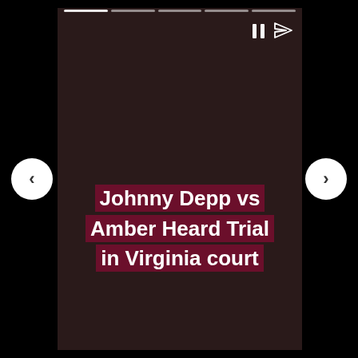Johnny Depp vs Amber Heard Trial in Virginia court